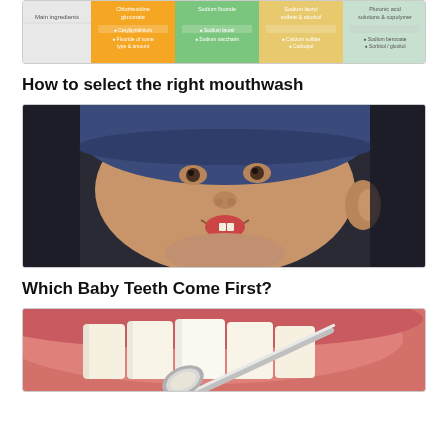[Figure (photo): Partial view of a mouthwash comparison infographic with colored panels (orange, green, yellow) showing product labels and ingredient information]
How to select the right mouthwash
[Figure (photo): Close-up photo of a smiling baby wearing a blue hat, showing a couple of lower front baby teeth]
Which Baby Teeth Come First?
[Figure (photo): Close-up macro photo of human teeth with a dental tool (mirror or probe) being used to examine them, showing gum tissue and tooth surfaces]